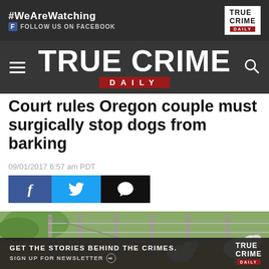[Figure (screenshot): True Crime Daily advertisement banner with #WeAreWatching hashtag, Facebook follow prompt, and True Crime Daily logo]
TRUE CRIME DAILY
Court rules Oregon couple must surgically stop dogs from barking
09/01/2017 6:57 am PDT
[Figure (screenshot): Social media share buttons: Facebook (blue), Twitter (blue), and Comment (black)]
[Figure (photo): Photo of a farm/yard scene with fence and animals (goats/sheep) visible, with a True Crime Daily newsletter signup advertisement overlaid at the bottom reading GET THE STORIES BEHIND THE CRIMES. SIGN UP FOR NEWSLETTER]